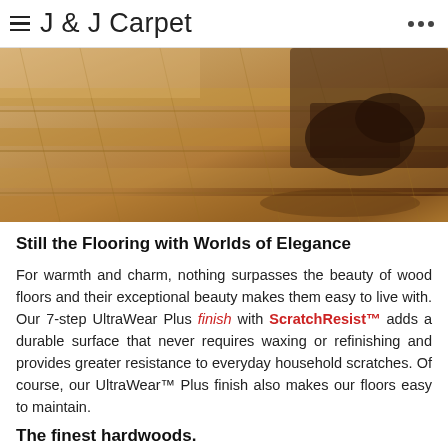J & J Carpet
[Figure (photo): Close-up photo of light wood plank flooring with a pair of dark brown leather shoes and a bag resting on it]
Still the Flooring with Worlds of Elegance
For warmth and charm, nothing surpasses the beauty of wood floors and their exceptional beauty makes them easy to live with. Our 7-step UltraWear Plus finish with ScratchResist™ adds a durable surface that never requires waxing or refinishing and provides greater resistance to everyday household scratches. Of course, our UltraWear™ Plus finish also makes our floors easy to maintain.
The finest hardwoods.